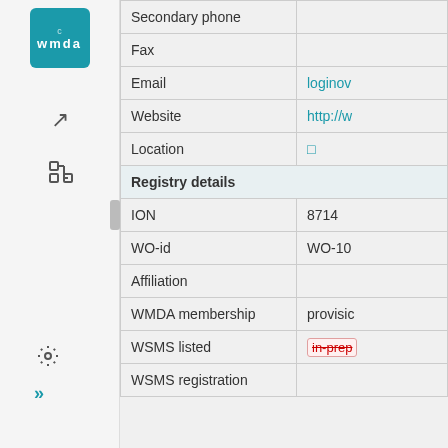[Figure (logo): WMDA logo in teal square]
| Field | Value |
| --- | --- |
| Secondary phone |  |
| Fax |  |
| Email | loginov... |
| Website | http://w... |
| Location | □ |
| Registry details |  |
| ION | 8714 |
| WO-id | WO-10... |
| Affiliation |  |
| WMDA membership | provisio... |
| WSMS listed | in-prep (strikethrough) |
| WSMS registration |  |
Some, but not all organisations have additional pages. Documents may include : CBB Surveys, Operational information, Regulatory Surveys, Public documents, and Member documents. Although all resources are listed, member documents are only accessible to WMDA members.
Children Display
WMDAREG:IO...